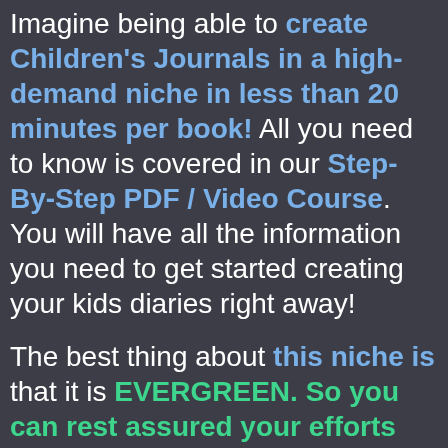Imagine being able to create Children's Journals in a high-demand niche in less than 20 minutes per book! All you need to know is covered in our Step-By-Step PDF / Video Course. You will have all the information you need to get started creating your kids diaries right away!
The best thing about this niche is that it is EVERGREEN. So you can rest assured your efforts will profit you for years to come!